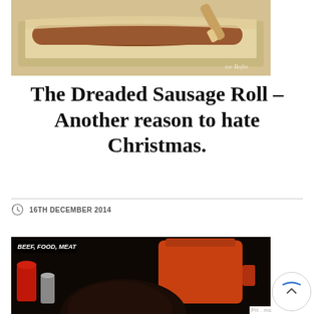[Figure (photo): A sausage roll being prepared on a pastry sheet with a pastry brush, on a baking tray lined with parchment paper. Watermark reads 'tor Bofin'.]
The Dreaded Sausage Roll – Another reason to hate Christmas.
16TH DECEMBER 2014
[Figure (photo): A dark food photo showing a braised or roasted meat dish in a black or dark pot, with an orange Le Creuset pot visible in the background and red cookware on the left. Tags: BEEF, FOOD, MEAT.]